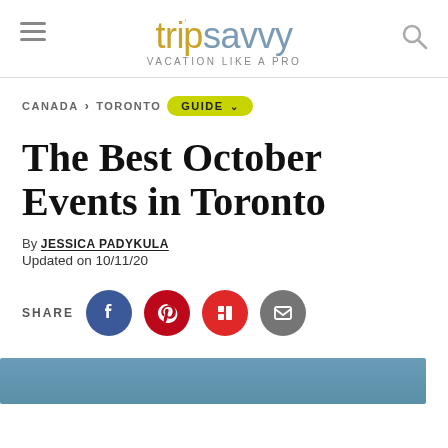trip savvy — VACATION LIKE A PRO
CANADA > TORONTO GUIDE
The Best October Events in Toronto
By JESSICA PADYKULA
Updated on 10/11/20
SHARE
[Figure (other): Advertisement bar with steel blue background and 'Ad' label]